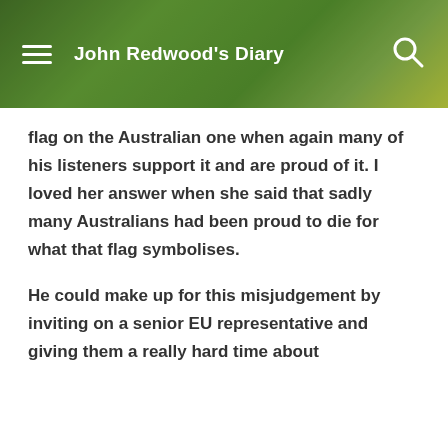John Redwood's Diary
flag on the Australian one when again many of his listeners support it and are proud of it. I loved her answer when she said that sadly many Australians had been proud to die for what that flag symbolises.
He could make up for this misjudgement by inviting on a senior EU representative and giving them a really hard time about
high energy prices
youth unemployment in the EU